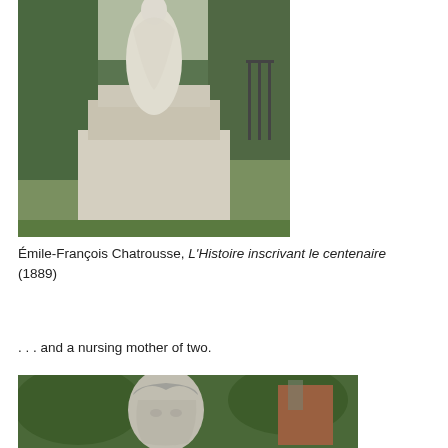[Figure (photo): Outdoor photograph of a white marble statue of a draped female figure on a large stone pedestal, surrounded by green trees and grass in a park setting.]
Émile-François Chatrousse, L'Histoire inscrivant le centenaire (1889)
. . . and a nursing mother of two.
[Figure (photo): Outdoor photograph showing the upper portion of a weathered stone or marble sculpture of a figure with curly hair, with trees and a brick building visible in the background.]